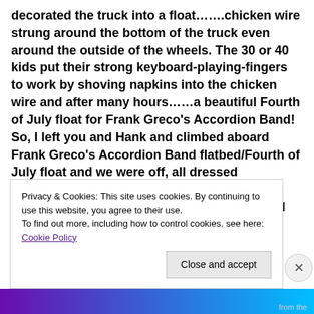decorated the truck into a float…….chicken wire strung around the bottom of the truck even around the outside of the wheels. The 30 or 40 kids put their strong keyboard-playing-fingers to work by shoving napkins into the chicken wire and after many hours……a beautiful Fourth of July float for Frank Greco's Accordion Band! So, I left you and Hank and climbed aboard Frank Greco's Accordion Band flatbed/Fourth of July float and we were off, all dressed alike….black pants, white button down long sleeve shirts, red vests and
Privacy & Cookies: This site uses cookies. By continuing to use this website, you agree to their use. To find out more, including how to control cookies, see here: Cookie Policy
Close and accept